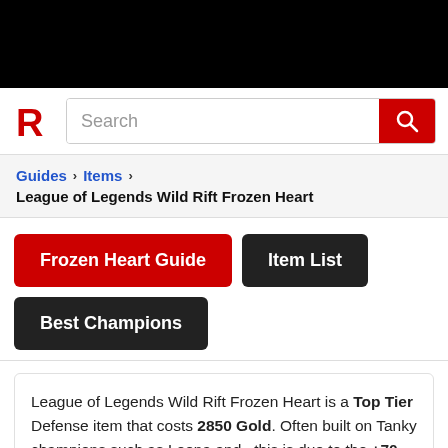[Figure (logo): Black top bar banner]
Search bar with Rankedboost logo and red search button
Guides › Items › League of Legends Wild Rift Frozen Heart
Frozen Heart Guide
Item List
Best Champions
League of Legends Wild Rift Frozen Heart is a Top Tier Defense item that costs 2850 Gold. Often built on Tanky champions such as Leona and , this is due to the +70 Armor +300 Mana + 20 Ability Haste stats you receive from the Frozen Heart in Wild Rift.